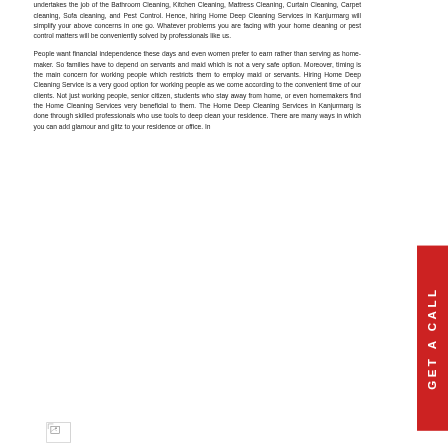undertakes the job of the Bathroom Cleaning, Kitchen Cleaning, Mattress Cleaning, Curtain Cleaning, Carpet cleaning, Sofa cleaning, and Pest Control. Hence, hiring Home Deep Cleaning Services in Kanjurmarg will simplify your above concerns in one go. Whatever problems you are facing with your home cleaning or pest control matters will be conveniently solved by professionals like us.
People want financial independence these days and even women prefer to earn rather than serving as home-maker. So families have to depend on servants and maid which is not a very safe option. Moreover, timing is the main concern for working people which restricts them to employ maid or servants. Hiring Home Deep Cleaning Service is a very good option for working people as we come according to the convenient time of our clients. Not just working people, senior citizen, students who stay away from home, or even homemakers find the Home Cleaning Services very beneficial to them. The Home Deep Cleaning Services in Kanjurmarg is done through skilled professionals who use tools to deep clean your residence. There are many ways in which you can add glamour and glitz to your residence or office. In
[Figure (photo): Small broken/placeholder image icon at lower left]